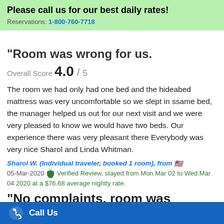Please call us for our best daily rates!
Reservations: 1-800-760-7718
"Room was wrong for us."
Overall Score 4.0 / 5
The room we had only had one bed and the hideabed mattress was very uncomfortable so we slept in ssame bed, the manager helped us out for our next visit and we were very pleased to know we would have two beds. Our experience there was very pleasant there Everybody was very nice Sharol and Linda Whitman.
Sharol W. (Individual traveler, booked 1 room), from 🇺🇸
05-Mar-2020 Verified Review, stayed from Mon Mar 02 to Wed Mar 04 2020 at a $76.68 average nightly rate.
"No complaints, room was
Call Us